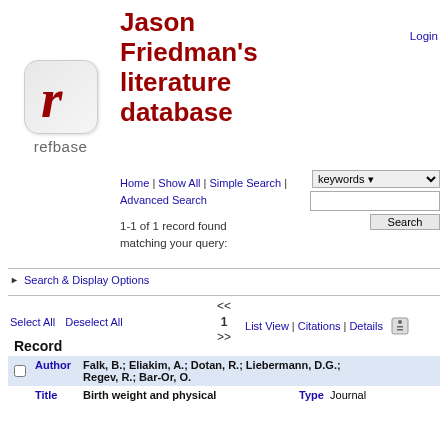[Figure (logo): Refbase logo with cursive red 'r' in rounded square icon and 'refbase' text below]
Jason Friedman's literature database
Home | Show All | Simple Search | Advanced Search
Login
1-1 of 1 record found matching your query:
► Search & Display Options
<< 1 >> List View | Citations | Details
Select All   Deselect All
|  | Record |  |  |
| --- | --- | --- | --- |
|  | Author | Falk, B.; Eliakim, A.; Dotan, R.; Liebermann, D.G.; Regev, R.; Bar-Or, O. |  |
|  | Title | Birth weight and physical | Type   Journal |